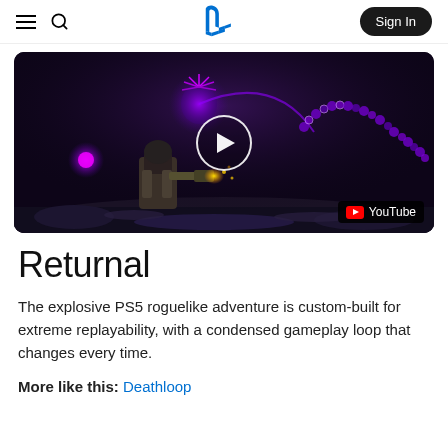PlayStation navigation header with hamburger menu, search, PlayStation logo, and Sign In button
[Figure (screenshot): Video thumbnail of Returnal gameplay showing a space marine character shooting purple energy blasts at an enemy creature surrounded by glowing purple orbs in a dark alien environment, with a white play button circle overlay and YouTube badge in bottom right corner]
Returnal
The explosive PS5 roguelike adventure is custom-built for extreme replayability, with a condensed gameplay loop that changes every time.
More like this: Deathloop